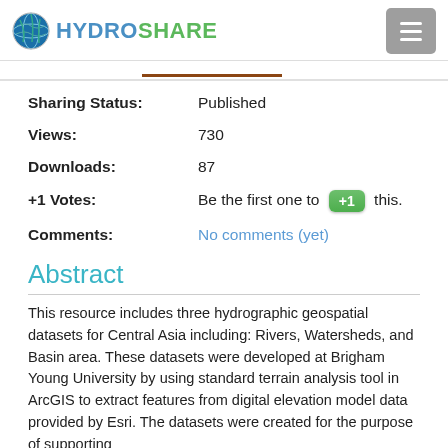[Figure (logo): HydroShare logo with globe icon and green/blue text]
Sharing Status: Published
Views: 730
Downloads: 87
+1 Votes: Be the first one to +1 this.
Comments: No comments (yet)
Abstract
This resource includes three hydrographic geospatial datasets for Central Asia including: Rivers, Watersheds, and Basin area. These datasets were developed at Brigham Young University by using standard terrain analysis tool in ArcGIS to extract features from digital elevation model data provided by Esri. The datasets were created for the purpose of supporting